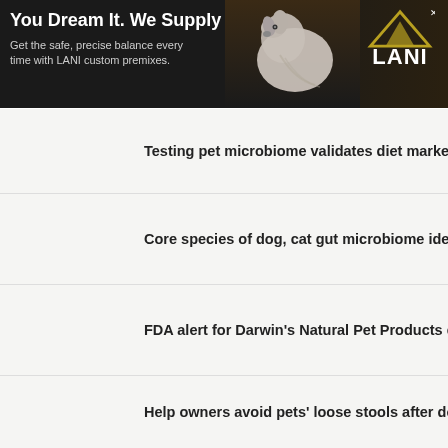[Figure (infographic): LANI advertisement banner with black background, white dog, mountain logo. Text: 'You Dream It. We Supply It. Get the safe, precise balance every time with LANI custom premixes.']
[Figure (photo): Colorful microscopic image of bacteria/microbiome]
Testing pet microbiome validates diet marketing claims
[Figure (photo): Blue spherical bacteria cells on orange/pink background]
Core species of dog, cat gut microbiome identified
[Figure (other): RECALL stamp graphic with red banner text]
FDA alert for Darwin’s Natural Pet Products cat food
[Figure (photo): Beagle dog eating from a bowl]
Help owners avoid pets’ loose stools after dog food switch